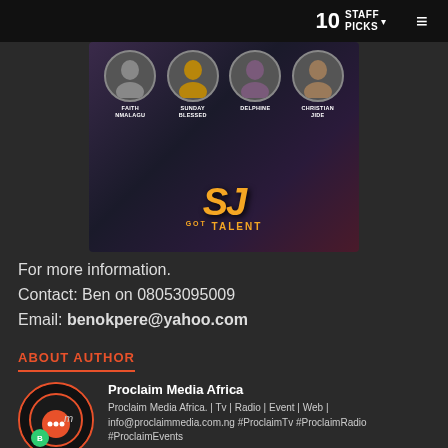10 STAFF PICKS
[Figure (photo): SJ Got Talent promotional image with four circular contestant photos labeled Faith Nmalagu, Sunday Blessed, Delphine, Christian Jide, and a golden SJ Got Talent logo at the bottom.]
For more information.
Contact: Ben on 08053095009
Email: benokpere@yahoo.com
ABOUT AUTHOR
Proclaim Media Africa
Proclaim Media Africa. | Tv | Radio | Event | Web | info@proclaimmedia.com.ng #ProclaimTv #ProclaimRadio #ProclaimEvents